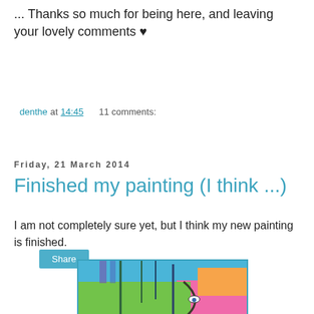... Thanks so much for being here, and leaving your lovely comments ♥
denthe at 14:45    11 comments:
Share
Friday, 21 March 2014
Finished my painting (I think ...)
I am not completely sure yet, but I think my new painting is finished.
[Figure (photo): Colorful abstract painting with bright greens, pinks, blues and oranges, partially visible]